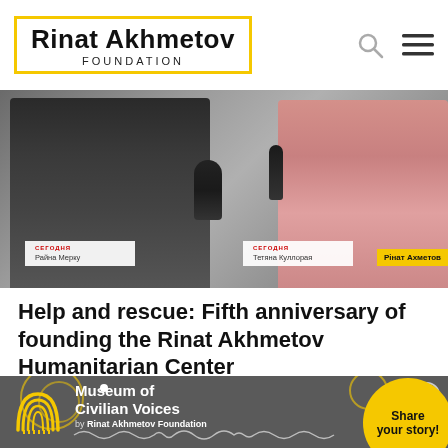[Figure (logo): Rinat Akhmetov Foundation logo with yellow border box]
[Figure (photo): Press conference photo showing two people at a table with microphones and nameplates reading 'Rayna Mercy' and 'Tatiana Koullarava', with a yellow Rinat Akhmetov nameplate]
Help and rescue: Fifth anniversary of founding the Rinat Akhmetov Humanitarian Center
[Figure (infographic): Museum of Civilian Voices by Rinat Akhmetov Foundation banner on dark grey background with rainbow icon, decorative circles, and yellow Share your story circle button]